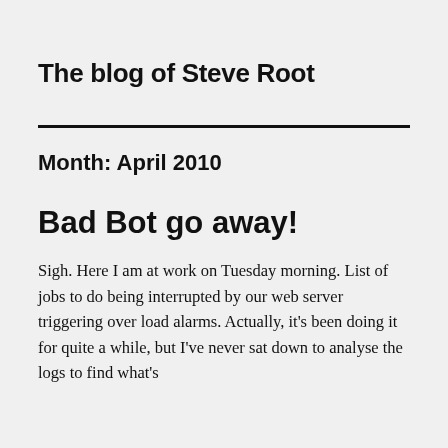The blog of Steve Root
Month: April 2010
Bad Bot go away!
Sigh. Here I am at work on Tuesday morning. List of jobs to do being interrupted by our web server triggering over load alarms. Actually, it's been doing it for quite a while, but I've never sat down to analyse the logs to find what's